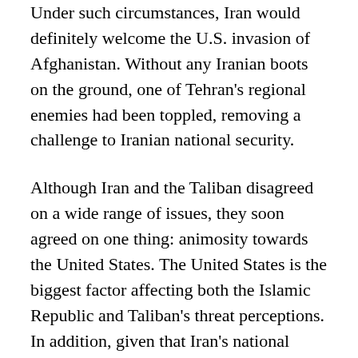Under such circumstances, Iran would definitely welcome the U.S. invasion of Afghanistan. Without any Iranian boots on the ground, one of Tehran's regional enemies had been toppled, removing a challenge to Iranian national security.
Although Iran and the Taliban disagreed on a wide range of issues, they soon agreed on one thing: animosity towards the United States. The United States is the biggest factor affecting both the Islamic Republic and Taliban's threat perceptions. In addition, given that Iran's national security doctrine has focused on achieving U.S. withdrawal from the region, even the Taliban's return to power in Afghanistan might...